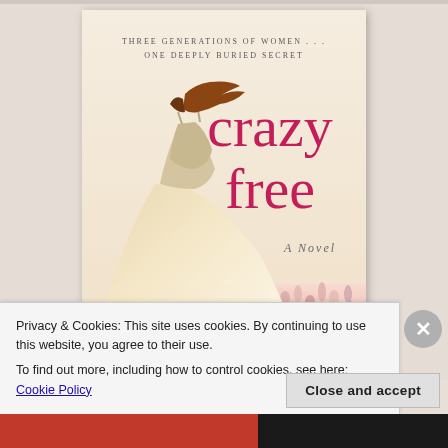[Figure (illustration): Book cover for 'Crazy Free: A Novel' showing a woman in a flowing dress standing in a flower field. Tagline reads 'THREE GENERATIONS OF WOMEN . . . ONE DEEPLY BURIED SECRET'. Title 'crazy free' in large pink serif font, subtitle 'A Novel' in smaller text.]
Privacy & Cookies: This site uses cookies. By continuing to use this website, you agree to their use.
To find out more, including how to control cookies, see here: Cookie Policy
Close and accept